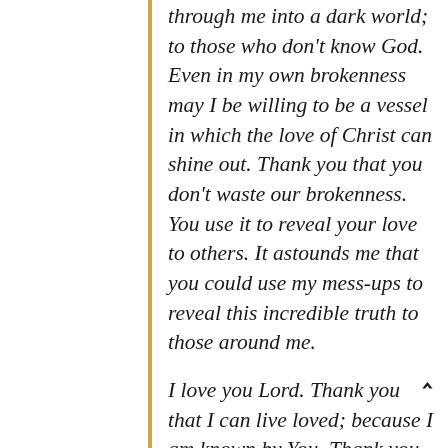through me into a dark world; to those who don't know God. Even in my own brokenness may I be willing to be a vessel in which the love of Christ can shine out. Thank you that you don't waste our brokenness. You use it to reveal your love to others. It astounds me that you could use my mess-ups to reveal this incredible truth to those around me.

I love you Lord. Thank you that I can live loved; because I am known by You. Thank you for inviting me